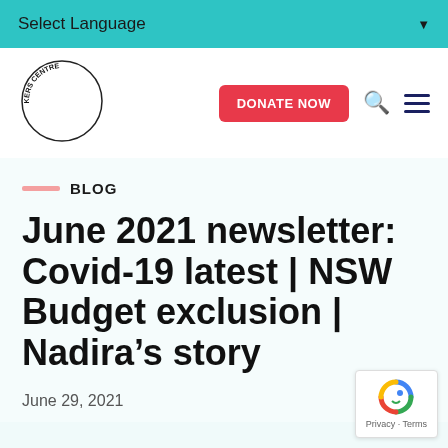Select Language ▼
[Figure (logo): Asylum Seekers Centre circular logo with text around the edge]
BLOG
June 2021 newsletter: Covid-19 latest | NSW Budget exclusion | Nadira's story
June 29, 2021